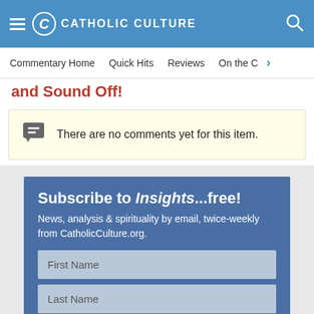CATHOLIC CULTURE
Commentary Home  Quick Hits  Reviews  On the C
and Sound Off!
There are no comments yet for this item.
Subscribe to Insights...free!
News, analysis & spirituality by email, twice-weekly from CatholicCulture.org.
First Name
Last Name
email (address must work)